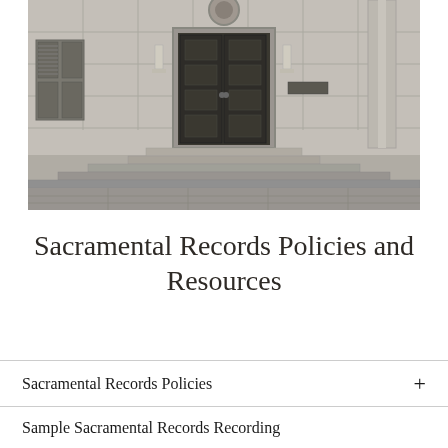[Figure (photo): Black and white photograph of a classical stone government or church building facade with large dark double doors, steps leading up to the entrance, wall-mounted lanterns, and a circular decorative element above the doors.]
Sacramental Records Policies and Resources
Sacramental Records Policies +
Sample Sacramental Records Recording